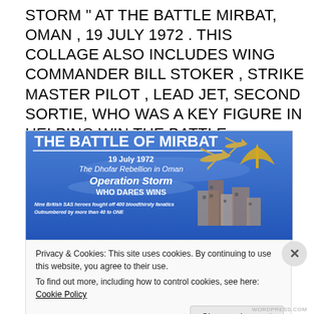STORM " AT THE BATTLE MIRBAT, OMAN , 19 JULY 1972 . THIS COLLAGE  ALSO INCLUDES  WING COMMANDER BILL STOKER , STRIKE MASTER PILOT , LEAD JET, SECOND SORTIE, WHO WAS A KEY FIGURE IN HELPING WIN THE BATTLE .
[Figure (illustration): The Battle of Mirbat collage image with blue background showing aircraft, SAS badge, and fort/buildings. Text reads: THE BATTLE OF MIRBAT, 19 July 1972, The Dhofar Rebellion in Oman, Operation Storm, WHO DARES WINS, Nine British SAS heroes fought off 400 bloodthirsty fanatics Outnumbered by more than 40 to ONE]
Privacy & Cookies: This site uses cookies. By continuing to use this website, you agree to their use.
To find out more, including how to control cookies, see here: Cookie Policy